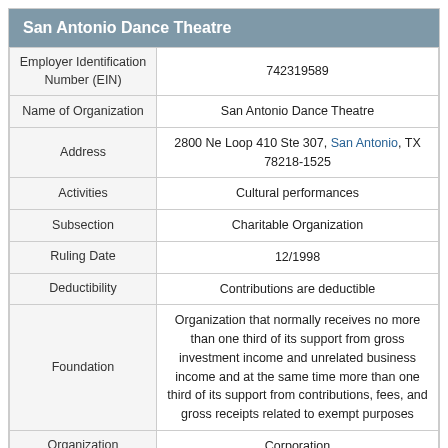| Field | Value |
| --- | --- |
| Employer Identification Number (EIN) | 742319589 |
| Name of Organization | San Antonio Dance Theatre |
| Address | 2800 Ne Loop 410 Ste 307, San Antonio, TX 78218-1525 |
| Activities | Cultural performances |
| Subsection | Charitable Organization |
| Ruling Date | 12/1998 |
| Deductibility | Contributions are deductible |
| Foundation | Organization that normally receives no more than one third of its support from gross investment income and unrelated business income and at the same time more than one third of its support from contributions, fees, and gross receipts related to exempt purposes |
| Organization | Corporation |
| Exempt Organization Status | Unconditional Exemption |